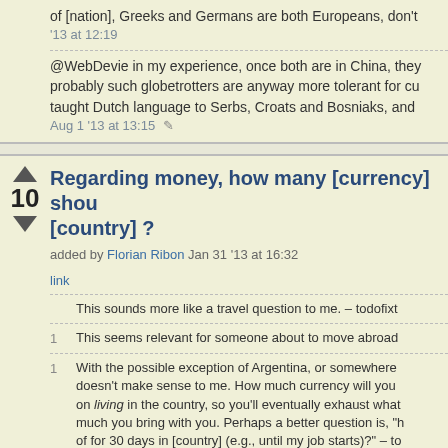of [nation], Greeks and Germans are both Europeans, don't
'13 at 12:19
@WebDevie in my experience, once both are in China, they probably such globetrotters are anyway more tolerant for cu taught Dutch language to Serbs, Croats and Bosniaks, and
Aug 1 '13 at 13:15
Regarding money, how many [currency] shou [country] ?
added by Florian Ribon Jan 31 '13 at 16:32
link
This sounds more like a travel question to me. – todofixt
1 This seems relevant for someone about to move abroad
1 With the possible exception of Argentina, or somewhere doesn't make sense to me. How much currency will you on living in the country, so you'll eventually exhaust what much you bring with you. Perhaps a better question is, "h of for 30 days in [country] (e.g., until my job starts)?" – to